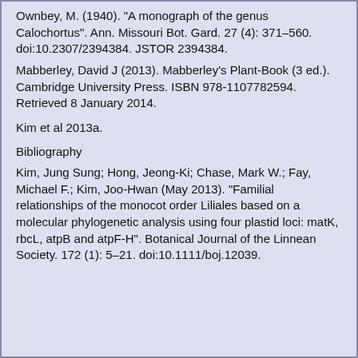Ownbey, M. (1940). "A monograph of the genus Calochortus". Ann. Missouri Bot. Gard. 27 (4): 371–560. doi:10.2307/2394384. JSTOR 2394384.
Mabberley, David J (2013). Mabberley's Plant-Book (3 ed.). Cambridge University Press. ISBN 978-1107782594. Retrieved 8 January 2014.
Kim et al 2013a.
Bibliography
Kim, Jung Sung; Hong, Jeong-Ki; Chase, Mark W.; Fay, Michael F.; Kim, Joo-Hwan (May 2013). "Familial relationships of the monocot order Liliales based on a molecular phylogenetic analysis using four plastid loci: matK, rbcL, atpB and atpF-H". Botanical Journal of the Linnean Society. 172 (1): 5–21. doi:10.1111/boj.12039.